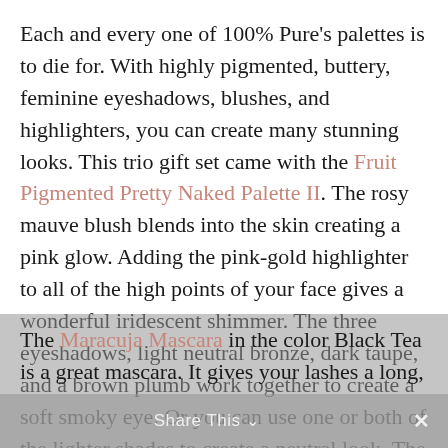Each and every one of 100% Pure's palettes is to die for. With highly pigmented, buttery, feminine eyeshadows, blushes, and highlighters, you can create many stunning looks. This trio gift set came with the Fruit Pigmented Pretty Naked Palette II. The rosy mauve blush blends into the skin creating a pink glow. Adding the pink-gold highlighter to all of the high points of your face gives a wonderful iridescent shimmer. The three eyeshadows, light neutral bronze, dark taupe, and a brown plumb work together to create a soft smoky eye. Or you can use one or both of the lighter shades to create a neutral look. The plumb shadow would make a unique eyeliner shade as well!
The Maracuja Mascara in the color Black Tea is a great mascara. It gives your lashes a long,
Share This